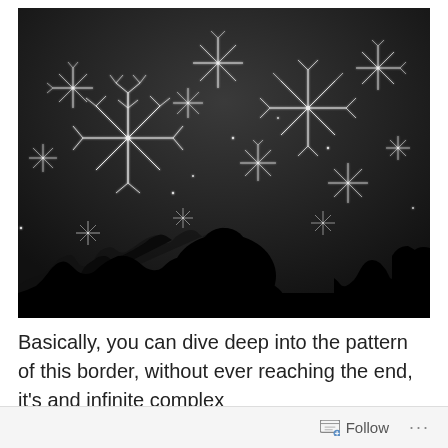[Figure (illustration): Black and white image of a Mandelbrot set fractal. The bottom portion shows a solid black fractal silhouette resembling a landscape or coastline with a prominent bulb shape in the center-left. Above it, on a dark grey background, are intricate white snowflake-like fractal patterns (Julia set filaments) spread across the upper portion of the image.]
Basically, you can dive deep into the pattern of this border, without ever reaching the end, it's and infinite complex
Follow ...